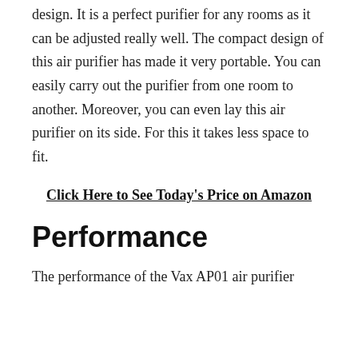design. It is a perfect purifier for any rooms as it can be adjusted really well. The compact design of this air purifier has made it very portable. You can easily carry out the purifier from one room to another. Moreover, you can even lay this air purifier on its side. For this it takes less space to fit.
Click Here to See Today's Price on Amazon
Performance
The performance of the Vax AP01 air purifier